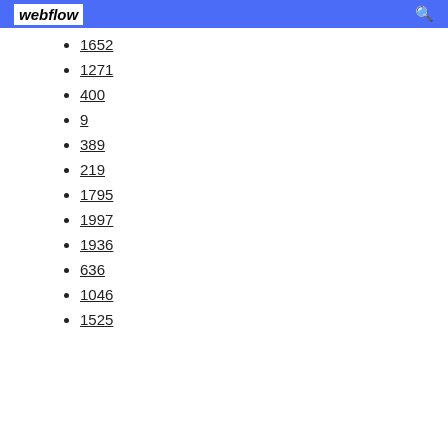webflow
1652
1271
400
9
389
219
1795
1997
1936
636
1046
1525